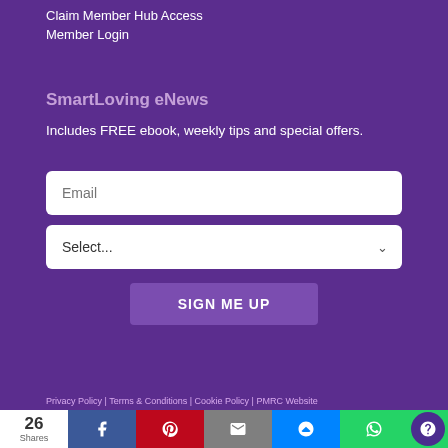Claim Member Hub Access
Member Login
SmartLoving eNews
Includes FREE ebook, weekly tips and special offers.
[Figure (screenshot): Email input field with placeholder text 'Email']
[Figure (screenshot): Dropdown select field with 'Select...' placeholder and chevron]
[Figure (screenshot): Purple 'SIGN ME UP' button]
Privacy Policy | Terms & Conditions | Cookie Policy | PMRC Website
26 Shares — social share bar with Facebook, Pinterest, Email, Messenger, WhatsApp, help button